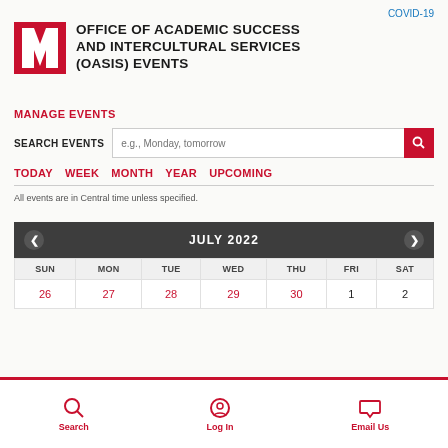COVID-19
[Figure (logo): University of Nebraska red block N logo]
OFFICE OF ACADEMIC SUCCESS AND INTERCULTURAL SERVICES (OASIS) EVENTS
MANAGE EVENTS
SEARCH EVENTS  e.g., Monday, tomorrow
TODAY  WEEK  MONTH  YEAR  UPCOMING
All events are in Central time unless specified.
| SUN | MON | TUE | WED | THU | FRI | SAT |
| --- | --- | --- | --- | --- | --- | --- |
| 26 | 27 | 28 | 29 | 30 | 1 | 2 |
Search  Log In  Email Us